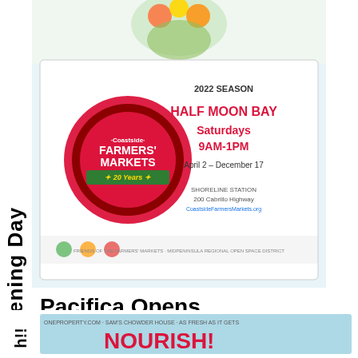[Figure (illustration): Coastside Farmers Markets flyer for 2022 season - Half Moon Bay, Saturdays 9AM-1PM, April 2 - December 17, Shoreline Station, 200 Cabrillo Highway. Logo shows Coastside Farmers Markets 20 Years badge.]
Pacifica Opens April 6th, 2022
[Figure (logo): Pacifica market logo - green shield/pentagon shape with letter P, red border outline. Below: Pacifica, ROCKAWAY BEACH, WEDNESDAYS 2:00-6:00]
[Figure (infographic): Bottom partial banner showing text NOURISH!! and additional market information]